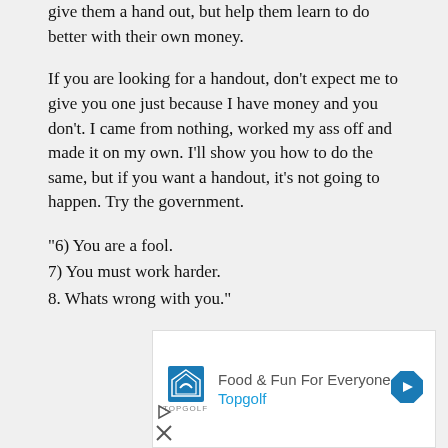give them a hand out, but help them learn to do better with their own money.
If you are looking for a handout, don't expect me to give you one just because I have money and you don't. I came from nothing, worked my ass off and made it on my own. I'll show you how to do the same, but if you want a handout, it's not going to happen. Try the government.
"6) You are a fool.
7) You must work harder.
8. Whats wrong with you."
[Figure (other): Topgolf advertisement banner with logo, text 'Food & Fun For Everyone', 'Topgolf', and a navigation arrow icon]